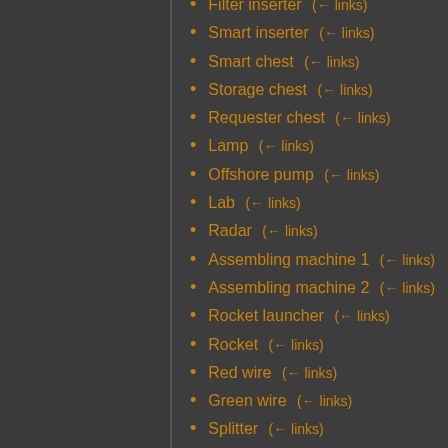Filter inserter  (← links)
Smart inserter  (← links)
Smart chest  (← links)
Storage chest  (← links)
Requester chest  (← links)
Lamp  (← links)
Offshore pump  (← links)
Lab  (← links)
Radar  (← links)
Assembling machine 1  (← links)
Assembling machine 2  (← links)
Rocket launcher  (← links)
Rocket  (← links)
Red wire  (← links)
Green wire  (← links)
Splitter  (← links)
Fast splitter  (← links)
Locomotive  (← links)
Train stop  (← links)
Rail signal  (← links)